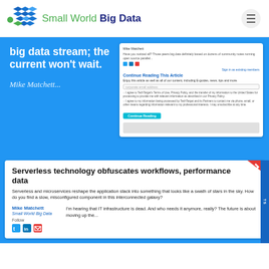[Figure (logo): Small World Big Data logo with colorful diamond grid icon]
big data stream; the current won't wait.
Mike Matchett...
[Figure (screenshot): Article paywall screenshot with Continue Reading form and email input]
Serverless technology obfuscates workflows, performance data
Serverless and microservices reshape the application stack into something that looks like a swath of stars in the sky. How do you find a slow, misconfigured component in this interconnected galaxy?
Mike Matchett
Small World Big Data
Follow
I'm hearing that IT infrastructure is dead. And who needs it anymore, really? The future is about moving up the...